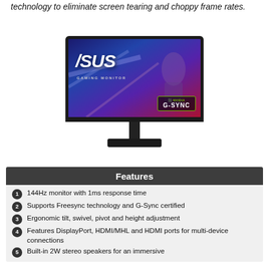technology to eliminate screen tearing and choppy frame rates.
[Figure (photo): ASUS Gaming Monitor with G-SYNC badge displayed on screen, showing a gaming scene in the background. Monitor has an ergonomic stand with a rectangular base.]
Features
144Hz monitor with 1ms response time
Supports Freesync technology and G-Sync certified
Ergonomic tilt, swivel, pivot and height adjustment
Features DisplayPort, HDMI/MHL and HDMI ports for multi-device connections
Built-in 2W stereo speakers for an immersive